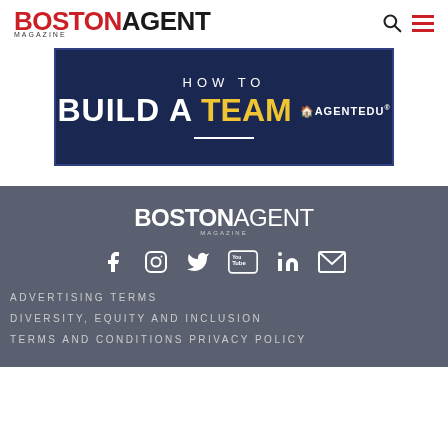BOSTON AGENT MAGAZINE
[Figure (infographic): Dark navy blue advertisement banner for AgentEdu with text 'HOW TO BUILD A TEAM' with 'TEAM' in yellow, and AgentEdu logo]
[Figure (logo): Boston Agent Magazine footer logo in white]
[Figure (infographic): Social media icons row: Facebook, Instagram, Twitter, YouTube, LinkedIn, Email]
ADVERTISING TERMS
DIVERSITY, EQUITY AND INCLUSION
TERMS AND CONDITIONS  PRIVACY POLICY